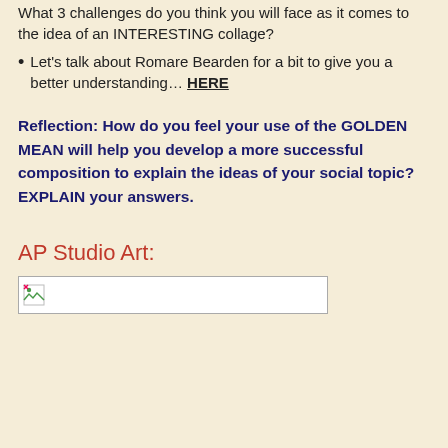What 3 challenges do you think you will face as it comes to the idea of an INTERESTING collage?
Let's talk about Romare Bearden for a bit to give you a better understanding… HERE
Reflection: How do you feel your use of the GOLDEN MEAN will help you develop a more successful composition to explain the ideas of your social topic? EXPLAIN your answers.
AP Studio Art:
[Figure (photo): A broken/missing image placeholder box with a small image icon in the upper left corner]